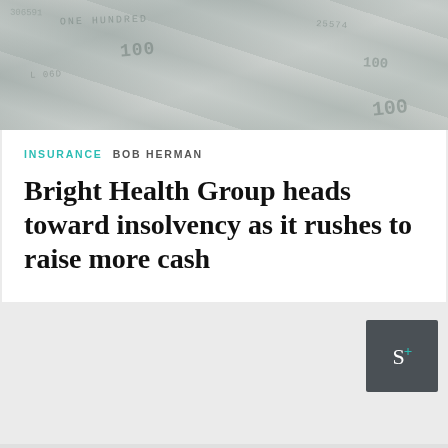[Figure (photo): Background image of US dollar bills, faded gray-green tones, used as header hero image for article]
INSURANCE  BOB HERMAN
Bright Health Group heads toward insolvency as it rushes to raise more cash
[Figure (logo): S+ logo in dark gray/charcoal square box with teal plus sign, representing Axios subscriber subscription icon]
TRENDING
Scientists are racing to develop home tests that measure protection against Covid-19